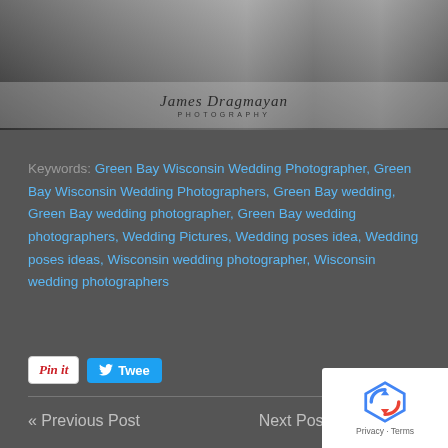[Figure (photo): Header photo strip showing wedding party guests at a reception, with a watermark overlay reading 'James Dragmayan Photography']
Keywords: Green Bay Wisconsin Wedding Photographer, Green Bay Wisconsin Wedding Photographers, Green Bay wedding, Green Bay wedding photographer, Green Bay wedding photographers, Wedding Pictures, Wedding poses idea, Wedding poses ideas, Wisconsin wedding photographer, Wisconsin wedding photographers
[Figure (other): Social sharing buttons: Pin It (Pinterest) and Tweet (Twitter)]
« Previous Post
Next Post